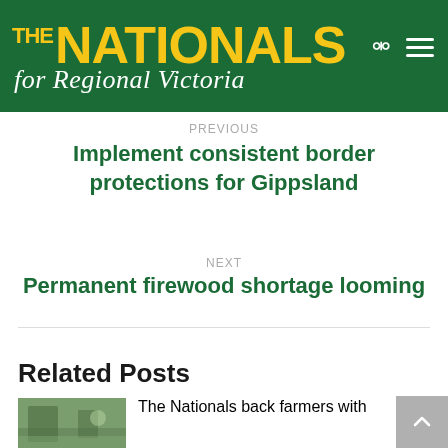[Figure (logo): The Nationals for Regional Victoria logo — yellow bold 'THE NATIONALS' text on dark green background with white italic script 'for Regional Victoria' below]
PREVIOUS
Implement consistent border protections for Gippsland
NEXT
Permanent firewood shortage looming
Related Posts
The Nationals back farmers with